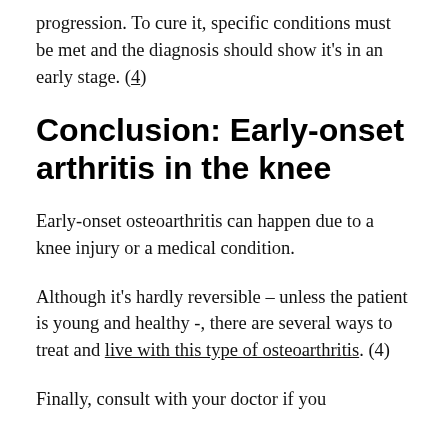progression. To cure it, specific conditions must be met and the diagnosis should show it's in an early stage. (4)
Conclusion: Early-onset arthritis in the knee
Early-onset osteoarthritis can happen due to a knee injury or a medical condition.
Although it's hardly reversible – unless the patient is young and healthy -, there are several ways to treat and live with this type of osteoarthritis. (4)
Finally, consult with your doctor if you